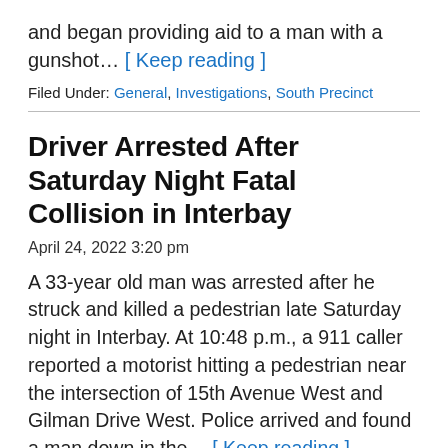and began providing aid to a man with a gunshot… [ Keep reading ]
Filed Under: General, Investigations, South Precinct
Driver Arrested After Saturday Night Fatal Collision in Interbay
April 24, 2022 3:20 pm
A 33-year old man was arrested after he struck and killed a pedestrian late Saturday night in Interbay. At 10:48 p.m., a 911 caller reported a motorist hitting a pedestrian near the intersection of 15th Avenue West and Gilman Drive West. Police arrived and found a man down in the… [ Keep reading ]